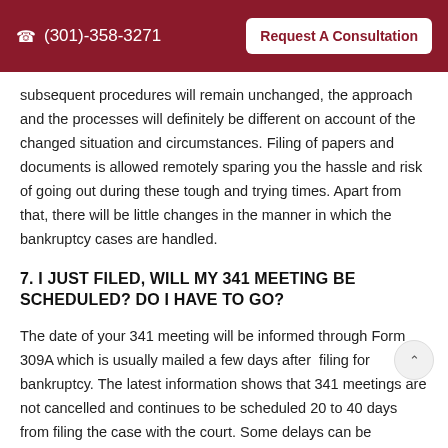(301)-358-3271  Request A Consultation
subsequent procedures will remain unchanged, the approach and the processes will definitely be different on account of the changed situation and circumstances. Filing of papers and documents is allowed remotely sparing you the hassle and risk of going out during these tough and trying times. Apart from that, there will be little changes in the manner in which the bankruptcy cases are handled.
7. I JUST FILED, WILL MY 341 MEETING BE SCHEDULED? DO I HAVE TO GO?
The date of your 341 meeting will be informed through Form 309A which is usually mailed a few days after filing for bankruptcy. The latest information shows that 341 meetings are not cancelled and continues to be scheduled 20 to 40 days from filing the case with the court. Some delays can be expected because of the